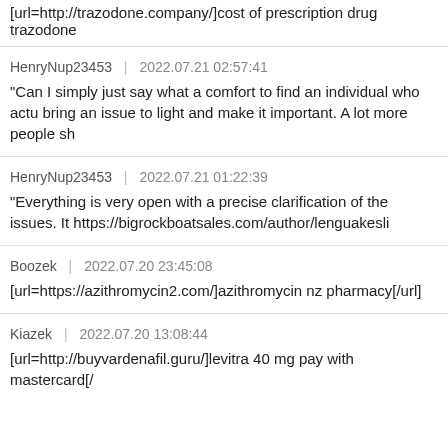[url=http://trazodone.company/]cost of prescription drug trazodone
HenryNup23453 | 2022.07.21 02:57:41
"Can I simply just say what a comfort to find an individual who actu bring an issue to light and make it important. A lot more people sh
HenryNup23453 | 2022.07.21 01:22:39
"Everything is very open with a precise clarification of the issues. It https://bigrockboatsales.com/author/lenguakesli
Boozek | 2022.07.20 23:45:08
[url=https://azithromycin2.com/]azithromycin nz pharmacy[/url]
Kiazek | 2022.07.20 13:08:44
[url=http://buyvardenafil.guru/]levitra 40 mg pay with mastercard[/